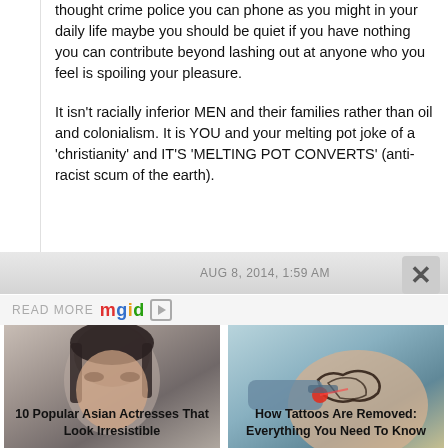thought crime police you can phone as you might in your daily life maybe you should be quiet if you have nothing you can contribute beyond lashing out at anyone who you feel is spoiling your pleasure.
It isn't racially inferior MEN and their families rather than oil and colonialism. It is YOU and your melting pot joke of a 'christianity' and IT'S 'MELTING POT CONVERTS' (anti-racist scum of the earth).
AUG 8, 2014, 1:59 AM
READ MORE mgid
[Figure (photo): Photo of a young woman with dark hair and heavy eye makeup]
[Figure (photo): Medical photo of a tattoo being removed with a laser device]
10 Popular Asian Actresses That Look Irresistible
How Tattoos Are Removed: Everything You Need To Know